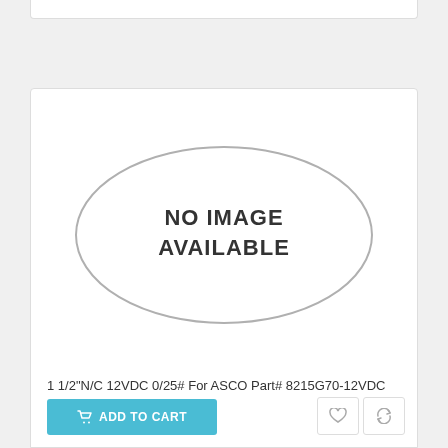[Figure (illustration): No Image Available placeholder — an oval/ellipse outline with the text NO IMAGE AVAILABLE centered inside]
1 1/2"N/C 12VDC 0/25# For ASCO Part# 8215G70-12VDC
$394.05
ADD TO CART